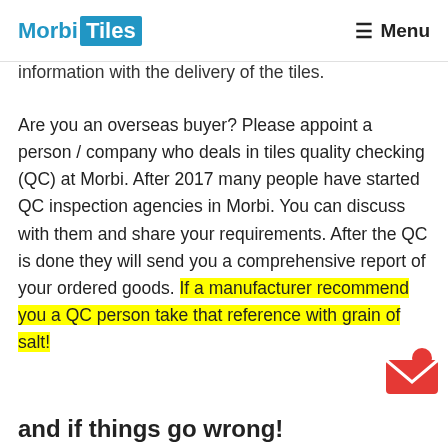Morbi Tiles — Menu
information with the delivery of the tiles.
Are you an overseas buyer? Please appoint a person / company who deals in tiles quality checking (QC) at Morbi. After 2017 many people have started QC inspection agencies in Morbi. You can discuss with them and share your requirements. After the QC is done they will send you a comprehensive report of your ordered goods. If a manufacturer recommend you a QC person take that reference with grain of salt!
and if things go wrong!